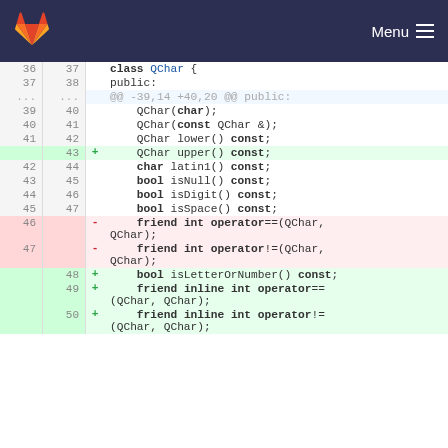GitLab — Menu
[Figure (screenshot): Code diff view of QChar class showing added and removed lines in a GitLab interface. Lines 36-50 of a C++ header file showing class QChar with public member functions, with added lines (green) for upper(), isLetterOrNumber(), inline friend operators and removed lines (red) for non-inline friend operator== and operator!=.]